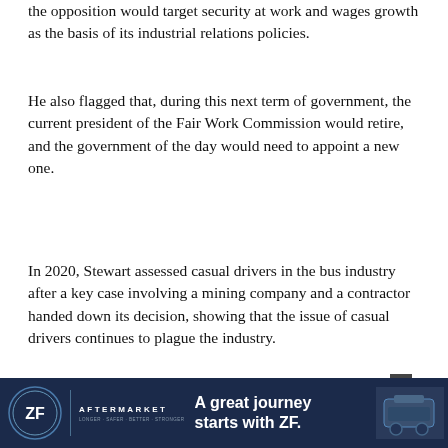the opposition would target security at work and wages growth as the basis of its industrial relations policies.
He also flagged that, during this next term of government, the current president of the Fair Work Commission would retire, and the government of the day would need to appoint a new one.
In 2020, Stewart assessed casual drivers in the bus industry after a key case involving a mining company and a contractor handed down its decision, showing that the issue of casual drivers continues to plague the industry.
[Figure (photo): Partial photo of a man's face (forehead, eyes visible), cropped at bottom of page]
[Figure (other): ZF Aftermarket advertisement banner: 'A great journey starts with ZF.' with ZF logo and product image]